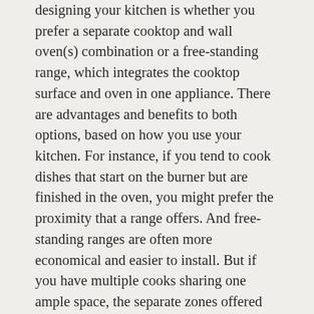designing your kitchen is whether you prefer a separate cooktop and wall oven(s) combination or a free-standing range, which integrates the cooktop surface and oven in one appliance. There are advantages and benefits to both options, based on how you use your kitchen. For instance, if you tend to cook dishes that start on the burner but are finished in the oven, you might prefer the proximity that a range offers. And free-standing ranges are often more economical and easier to install. But if you have multiple cooks sharing one ample space, the separate zones offered by a cooktop and a wall oven might serve you better. However, your choice may be dictated ultimately by the layout or space constraints of your kitchen — an open kitchen with little wall space or a small kitchen may not be able to accommodate a separate wall oven.